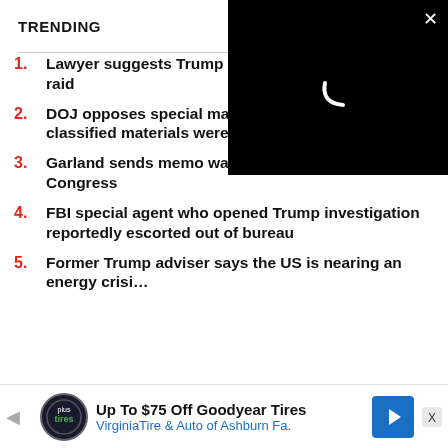TRENDING
Lawyer suggests Trump read constitutionality of FBI raid
DOJ opposes special master in Trump case, alleges classified materials were concealed
Garland sends memo warning DOJ against talking to Congress
FBI special agent who opened Trump investigation reportedly escorted out of bureau
Former Trump adviser says the US is nearing an energy crisis
[Figure (screenshot): Black video player overlay box in top-right corner with white close X button and loading spinner (white curved line on black background)]
[Figure (screenshot): Advertisement banner at bottom: Up To $75 Off Goodyear Tires - VirginiaTire & Auto of Ashburn Fa. with Tires Plus logo and blue arrow sign]